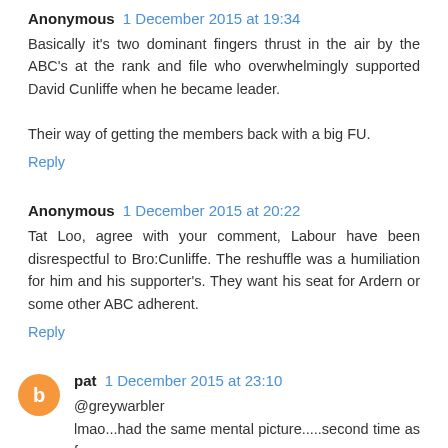Anonymous 1 December 2015 at 19:34
Basically it's two dominant fingers thrust in the air by the ABC's at the rank and file who overwhelmingly supported David Cunliffe when he became leader.

Their way of getting the members back with a big FU.
Reply
Anonymous 1 December 2015 at 20:22
Tat Loo, agree with your comment, Labour have been disrespectful to Bro:Cunliffe. The reshuffle was a humiliation for him and his supporter's. They want his seat for Ardern or some other ABC adherent.
Reply
pat 1 December 2015 at 23:10
@greywarbler
lmao...had the same mental picture.....second time as farce